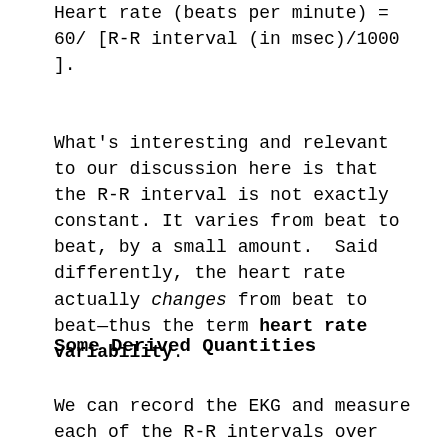Heart rate (beats per minute) = 60/ [R-R interval (in msec)/1000 ].
What's interesting and relevant to our discussion here is that the R-R interval is not exactly constant. It varies from beat to beat, by a small amount.  Said differently, the heart rate actually changes from beat to beat—thus the term heart rate variability.
Some Derived Quantities
We can record the EKG and measure each of the R-R intervals over any time period. A plot